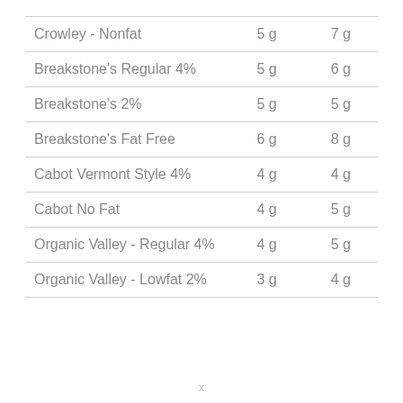|  |  |  |
| --- | --- | --- |
| Crowley - Nonfat | 5 g | 7 g |
| Breakstone's Regular 4% | 5 g | 6 g |
| Breakstone's 2% | 5 g | 5 g |
| Breakstone's Fat Free | 6 g | 8 g |
| Cabot Vermont Style 4% | 4 g | 4 g |
| Cabot No Fat | 4 g | 5 g |
| Organic Valley - Regular 4% | 4 g | 5 g |
| Organic Valley - Lowfat 2% | 3 g | 4 g |